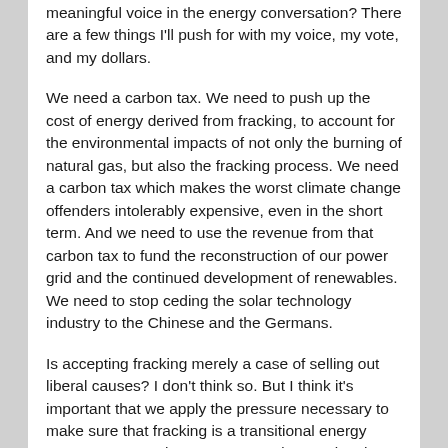meaningful voice in the energy conversation? There are a few things I'll push for with my voice, my vote, and my dollars.
We need a carbon tax. We need to push up the cost of energy derived from fracking, to account for the environmental impacts of not only the burning of natural gas, but also the fracking process. We need a carbon tax which makes the worst climate change offenders intolerably expensive, even in the short term. And we need to use the revenue from that carbon tax to fund the reconstruction of our power grid and the continued development of renewables. We need to stop ceding the solar technology industry to the Chinese and the Germans.
Is accepting fracking merely a case of selling out liberal causes? I don't think so. But I think it's important that we apply the pressure necessary to make sure that fracking is a transitional energy source. It goes a long ways towards stopping the bleeding – a United States powered